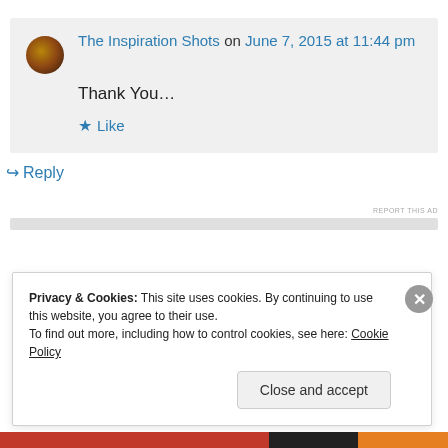The Inspiration Shots on June 7, 2015 at 11:44 pm
Thank You…
★ Like
↪ Reply
REPORT THIS AD
Privacy & Cookies: This site uses cookies. By continuing to use this website, you agree to their use. To find out more, including how to control cookies, see here: Cookie Policy
Close and accept